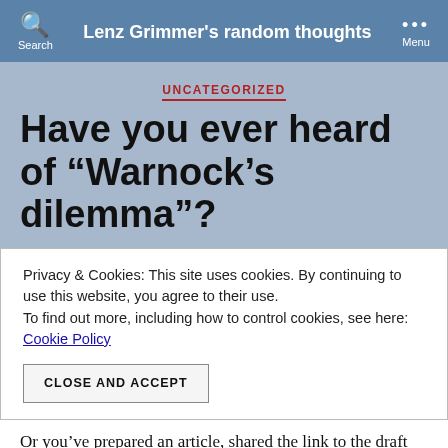Search  Lenz Grimmer's random thoughts  Menu
UNCATEGORIZED
Have you ever heard of “Warnock’s dilemma”?
Privacy & Cookies: This site uses cookies. By continuing to use this website, you agree to their use.
To find out more, including how to control cookies, see here: Cookie Policy
CLOSE AND ACCEPT
Or you’ve prepared an article, shared the link to the draft